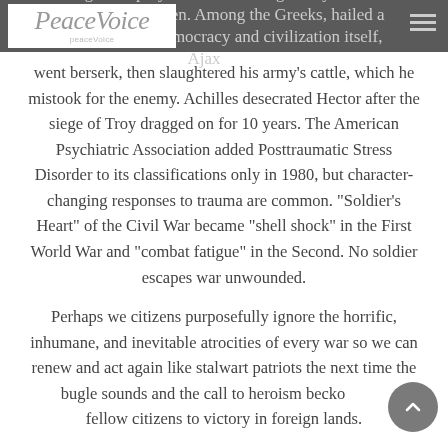back through antiquity both real and legendary: Romans [raped the] Sabine women. Among the Greeks, hailed as progenitors of democracy and civilization itself, Ajax
[Figure (logo): PeaceVoice logo with italic script text and subtitle]
went berserk, then slaughtered his army's cattle, which he mistook for the enemy. Achilles desecrated Hector after the siege of Troy dragged on for 10 years. The American Psychiatric Association added Posttraumatic Stress Disorder to its classifications only in 1980, but character-changing responses to trauma are common. “Soldier’s Heart” of the Civil War became “shell shock” in the First World War and “combat fatigue” in the Second. No soldier escapes war unwounded.
Perhaps we citizens purposefully ignore the horrific, inhumane, and inevitable atrocities of every war so we can renew and act again like stalwart patriots the next time the bugle sounds and the call to heroism beckons fellow citizens to victory in foreign lands.